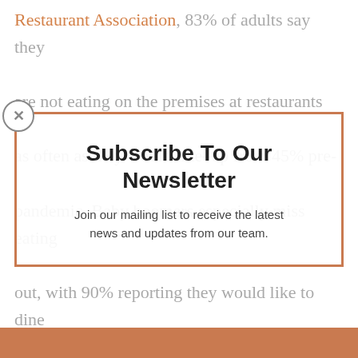Restaurant Association, 83% of adults say they are not eating on the premises at restaurants as often as they would like–up from 45% pre-pandemic. Baby boomers especially miss eating out, with 90% reporting they would like to dine at restaurants more frequently.
Smart restaurant operators are getting ready for the influx of business to come. As spring turns into summer, the desire for dining out will only increase. If you are like most restaurant operators, the cash flow cannot come soon enough. To take advantage of the increase in traffic, you will need to update your
[Figure (other): Subscribe To Our Newsletter modal popup with close button (X), title 'Subscribe To Our Newsletter', and text 'Join our mailing list to receive the latest news and updates from our team.']